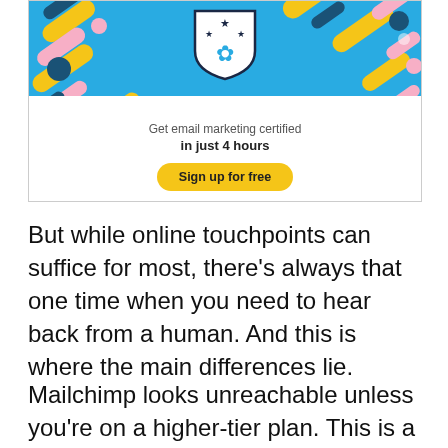[Figure (other): Mailchimp advertisement banner with blue background, colorful shapes, a badge/shield logo with stars, cloud graphic, text 'Get email marketing certified in just 4 hours', and a yellow 'Sign up for free' button]
But while online touchpoints can suffice for most, there's always that one time when you need to hear back from a human. And this is where the main differences lie.
Mailchimp looks unreachable unless you're on a higher-tier plan. This is a big disadvantage. As